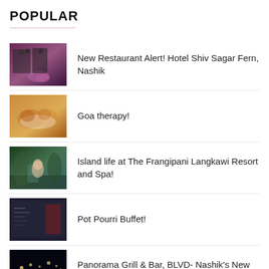POPULAR
New Restaurant Alert! Hotel Shiv Sagar Fern, Nashik
Goa therapy!
Island life at The Frangipani Langkawi Resort and Spa!
Pot Pourri Buffet!
Panorama Grill & Bar, BLVD- Nashik's New Rooftop Restaurant